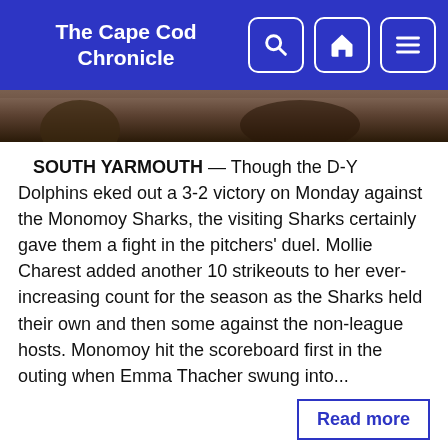The Cape Cod Chronicle
[Figure (photo): Sports photograph banner showing athletes in action, partially cropped]
SOUTH YARMOUTH — Though the D-Y Dolphins eked out a 3-2 victory on Monday against the Monomoy Sharks, the visiting Sharks certainly gave them a fight in the pitchers' duel. Mollie Charest added another 10 strikeouts to her ever-increasing count for the season as the Sharks held their own and then some against the non-league hosts. Monomoy hit the scoreboard first in the outing when Emma Thacher swung into...
Read more
Boosters Look To Bolster Sports Through Mattress Sale
April 12, 2017
By: Kat Szmit
[Figure (photo): Partial photo visible at bottom of page]